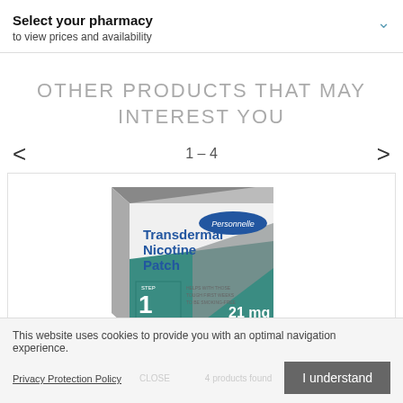Select your pharmacy
to view prices and availability
OTHER PRODUCTS THAT MAY INTEREST YOU
1 – 4
[Figure (photo): Personnelle Transdermal Nicotine Patch 21 mg Step 1 product box, teal and white packaging]
This website uses cookies to provide you with an optimal navigation experience.
Privacy Protection Policy
I understand